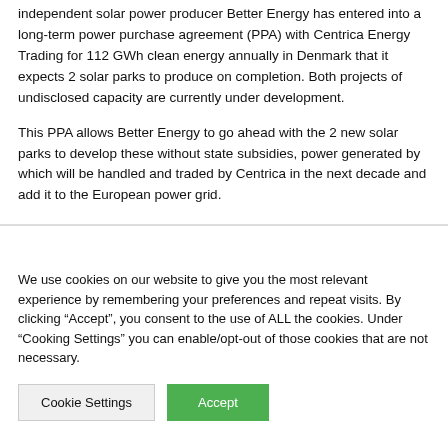independent solar power producer Better Energy has entered into a long-term power purchase agreement (PPA) with Centrica Energy Trading for 112 GWh clean energy annually in Denmark that it expects 2 solar parks to produce on completion. Both projects of undisclosed capacity are currently under development.
This PPA allows Better Energy to go ahead with the 2 new solar parks to develop these without state subsidies, power generated by which will be handled and traded by Centrica in the next decade and add it to the European power grid.
We use cookies on our website to give you the most relevant experience by remembering your preferences and repeat visits. By clicking “Accept”, you consent to the use of ALL the cookies. Under “Cooking Settings” you can enable/opt-out of those cookies that are not necessary.